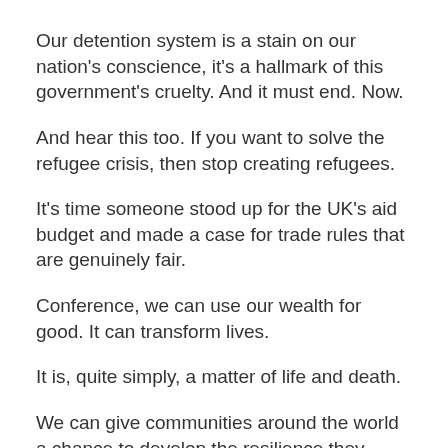Our detention system is a stain on our nation's conscience, it's a hallmark of this government's cruelty. And it must end. Now.
And hear this too. If you want to solve the refugee crisis, then stop creating refugees.
It's time someone stood up for the UK's aid budget and made a case for trade rules that are genuinely fair.
Conference, we can use our wealth for good. It can transform lives.
It is, quite simply, a matter of life and death.
We can give communities around the world a chance to develop the resilience they need. The independence they deserve. The freedom and opportunity that is their right.
Let me be clear. I want to see our aid budget